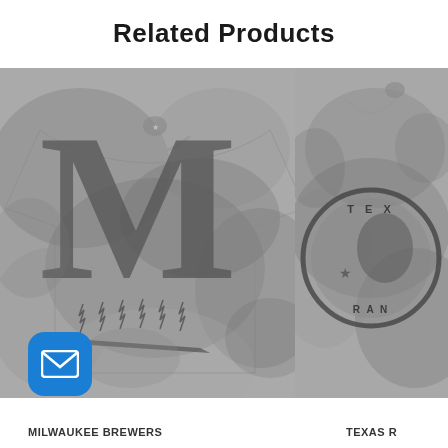Related Products
[Figure (photo): Gray tie-dye Milwaukee Brewers t-shirt with large M logo and wheat design]
[Figure (photo): Gray tie-dye Texas Rangers t-shirt with circular team logo, partially cropped]
MILWAUKEE BREWERS
TEXAS R